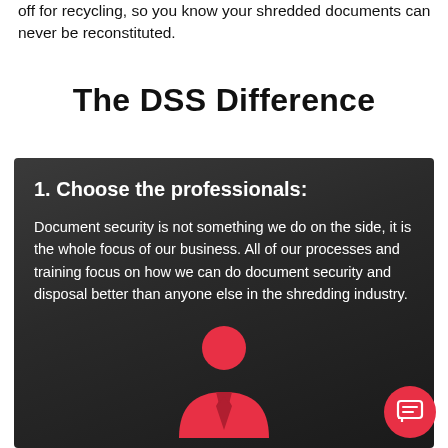off for recycling, so you know your shredded documents can never be reconstituted.
The DSS Difference
1. Choose the professionals:
Document security is not something we do on the side, it is the whole focus of our business. All of our processes and training focus on how we can do document security and disposal better than anyone else in the shredding industry.
[Figure (illustration): Red professional/person silhouette icon on dark background]
[Figure (illustration): Red circular chat/message button icon in bottom right corner]